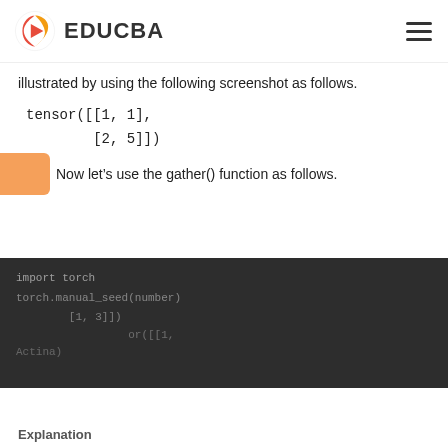EDUCBA
illustrated by using the following screenshot as follows.
Now let's use the gather() function as follows.
[Figure (screenshot): Dark background code area showing PyTorch gather() function usage with cookie consent overlay. Code includes: import torch, torch.manual_seed(number), tensor output lines. Cookie banner text: 'This website or its third-party tools use cookies, which are necessary to its functioning and required to achieve the purposes illustrated in the cookie policy. By closing this banner, scrolling this page, clicking a link or continuing to browse otherwise, you agree to our Privacy Policy' with OK button.]
Explanation